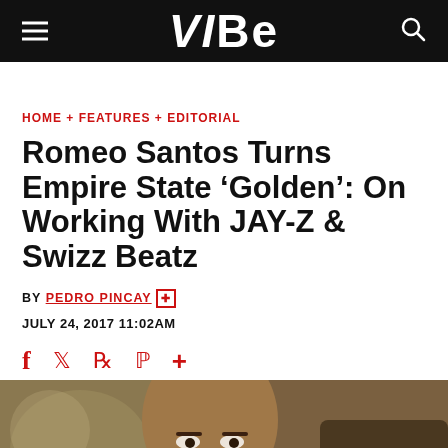VIBE
HOME + FEATURES + EDITORIAL
Romeo Santos Turns Empire State ‘Golden’: On Working With JAY-Z & Swizz Beatz
BY PEDRO PINCAY
JULY 24, 2017 11:02AM
[Figure (photo): Close-up photo of Romeo Santos smiling, seated in what appears to be an airplane seat, wearing a grey jacket]